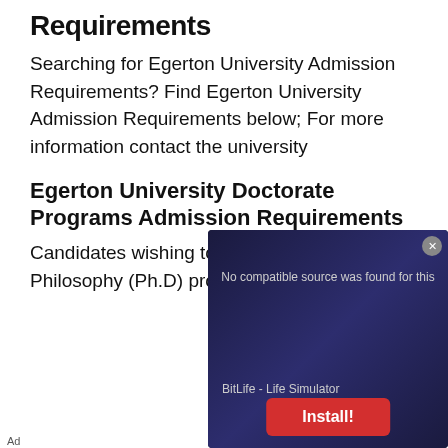Requirements
Searching for Egerton University Admission Requirements? Find Egerton University Admission Requirements below; For more information contact the university
Egerton University Doctorate Programs Admission Requirements
Candidates wishing to pursue a Doctor of Philosophy (Ph.D) programme at